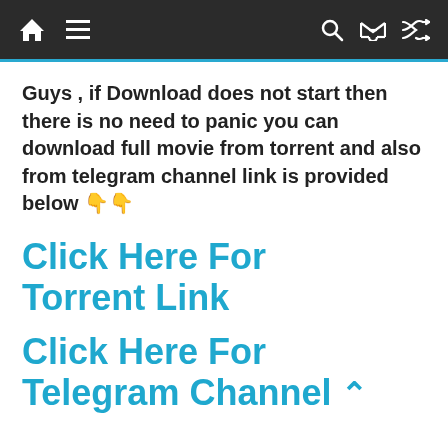Navigation bar with home icon, hamburger menu, search icon, and shuffle icon
Guys , if Download does not start then there is no need to panic you can download full movie from torrent and also from telegram channel link is provided below 👇👇
Click Here For Torrent Link
Click Here For Telegram Channel Link